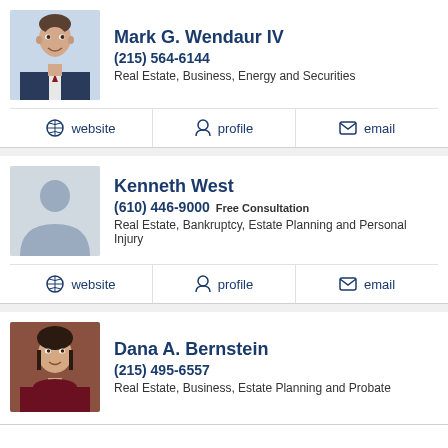Mark G. Wendaur IV
(215) 564-6144
Real Estate, Business, Energy and Securities
website | profile | email
Kenneth West
(610) 446-9000 Free Consultation
Real Estate, Bankruptcy, Estate Planning and Personal Injury
website | profile | email
Dana A. Bernstein
(215) 495-6557
Real Estate, Business, Estate Planning and Probate